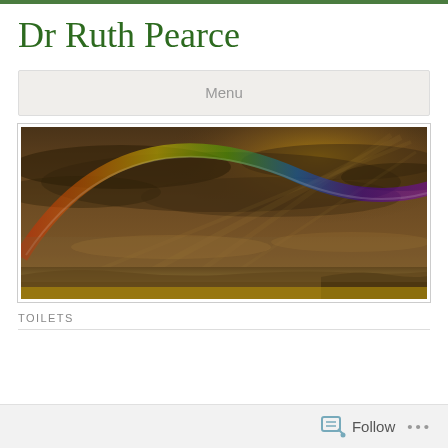Dr Ruth Pearce
Menu
[Figure (photo): Panoramic photograph of a dramatic stormy sky with a rainbow arching across, over a flat open landscape with warm golden-brown tones.]
TOILETS
Follow ...